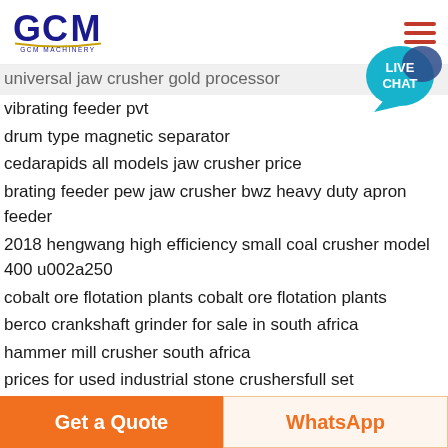[Figure (logo): GCM Machinery logo with stylized GCM letters in dark blue and gold underline, text GCM MACHINERY below]
universal jaw crusher gold processor
vibrating feeder pvt
drum type magnetic separator
cedarapids all models jaw crusher price
brating feeder pew jaw crusher bwz heavy duty apron feeder
2018 hengwang high efficiency small coal crusher model 400 u002a250
cobalt ore flotation plants cobalt ore flotation plants
berco crankshaft grinder for sale in south africa
hammer mill crusher south africa
prices for used industrial stone crushersfull set
used rotary sand dryer aol search results